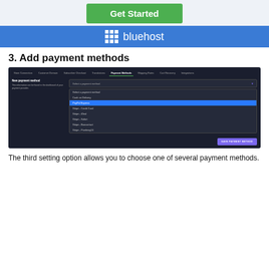[Figure (screenshot): Green 'Get Started' button on a light blue-gray background]
[Figure (logo): Bluehost logo on blue banner background with grid icon]
3. Add payment methods
[Figure (screenshot): Screenshot of a dark-themed payment methods settings page with a dropdown showing options: Select a payment method, Cash on Delivery, PayPal Express (highlighted in blue), Stripe - Credit Card, Stripe - iDeal, Stripe - Sofort, Stripe - Bancontact, Stripe - Przelewy24, with a SAVE PAYMENT METHOD button]
The third setting option allows you to choose one of several payment methods.